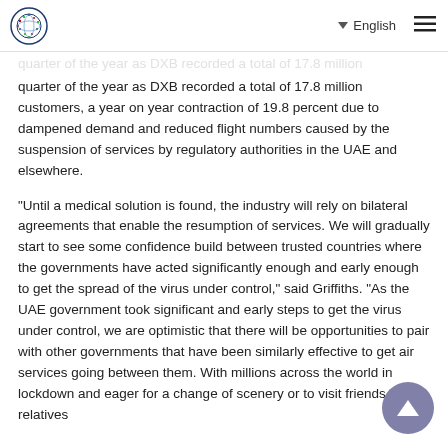English
quarter of the year as DXB recorded a total of 17.8 million customers, a year on year contraction of 19.8 percent due to dampened demand and reduced flight numbers caused by the suspension of services by regulatory authorities in the UAE and elsewhere.
"Until a medical solution is found, the industry will rely on bilateral agreements that enable the resumption of services. We will gradually start to see some confidence build between trusted countries where the governments have acted significantly enough and early enough to get the spread of the virus under control," said Griffiths. "As the UAE government took significant and early steps to get the virus under control, we are optimistic that there will be opportunities to pair with other governments that have been similarly effective to get air services going between them. With millions across the world in lockdown and eager for a change of scenery or to visit friends and relatives